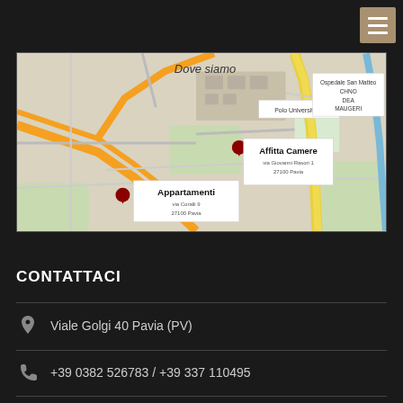[Figure (map): Google Maps screenshot showing Pavia, Italy with markers for 'Affitta Camere' at via Giovanni Rasori 1, 27100 Pavia, 'Appartamenti' at via Coralli 9, 27100 Pavia, 'Polo Universitario', and 'Ospedale San Matteo CHNO DEA MAUGERI'. Title 'Dove siamo' shown on map.]
CONTATTACI
Viale Golgi 40 Pavia (PV)
+39 0382 526783 / +39 337 110495